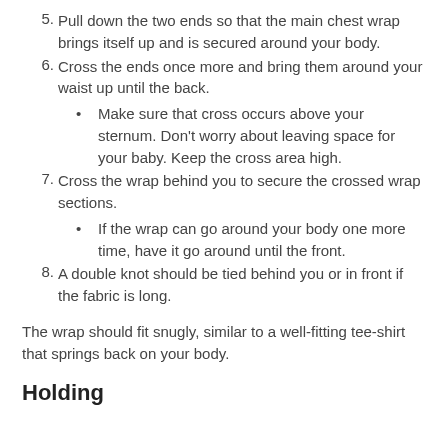5. Pull down the two ends so that the main chest wrap brings itself up and is secured around your body.
6. Cross the ends once more and bring them around your waist up until the back.
Make sure that cross occurs above your sternum. Don't worry about leaving space for your baby. Keep the cross area high.
7. Cross the wrap behind you to secure the crossed wrap sections.
If the wrap can go around your body one more time, have it go around until the front.
8. A double knot should be tied behind you or in front if the fabric is long.
The wrap should fit snugly, similar to a well-fitting tee-shirt that springs back on your body.
Holding